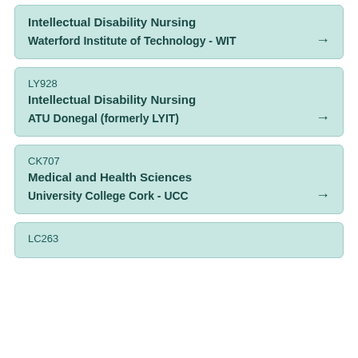Intellectual Disability Nursing
Waterford Institute of Technology - WIT
LY928
Intellectual Disability Nursing
ATU Donegal (formerly LYIT)
CK707
Medical and Health Sciences
University College Cork - UCC
LC263